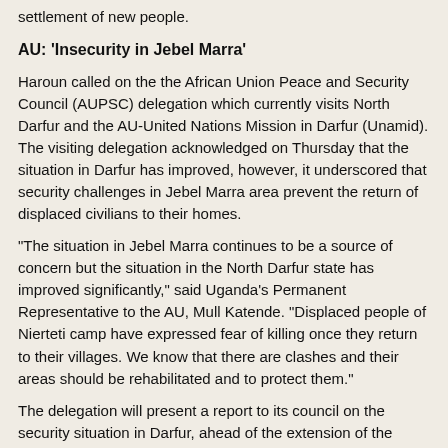settlement of new people.
AU: 'Insecurity in Jebel Marra'
Haroun called on the the African Union Peace and Security Council (AUPSC) delegation which currently visits North Darfur and the AU-United Nations Mission in Darfur (Unamid). The visiting delegation acknowledged on Thursday that the situation in Darfur has improved, however, it underscored that security challenges in Jebel Marra area prevent the return of displaced civilians to their homes.
“The situation in Jebel Marra continues to be a source of concern but the situation in the North Darfur state has improved significantly,” said Uganda’s Permanent Representative to the AU, Mull Katende. “Displaced people of Nierteti camp have expressed fear of killing once they return to their villages. We know that there are clashes and their areas should be rehabilitated and to protect them.”
The delegation will present a report to its council on the security situation in Darfur, ahead of the extension of the mandate of Unamid next June by the UN Security Council. Sources informed Radio Dabanga that the AUPSC ambassadors were warned to not discuss